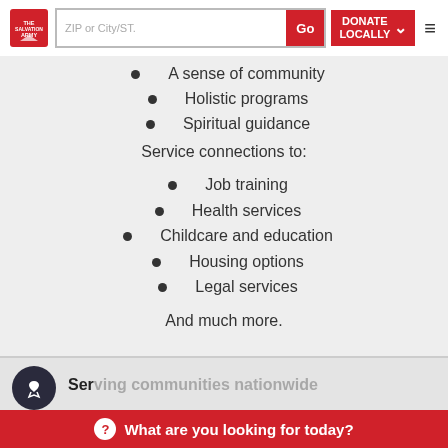The Salvation Army — ZIP or City/ST. | Go | DONATE LOCALLY | menu
A sense of community
Holistic programs
Spiritual guidance
Service connections to:
Job training
Health services
Childcare and education
Housing options
Legal services
And much more.
[Figure (logo): Dark circle icon with hand/heart symbol]
Ser...
In providing its po...
What are you looking for today?